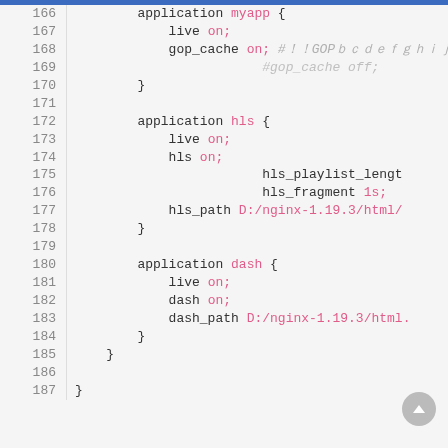[Figure (screenshot): Code editor screenshot showing nginx RTMP configuration lines 166-187, including application blocks for myapp, hls, and dash with various directives.]